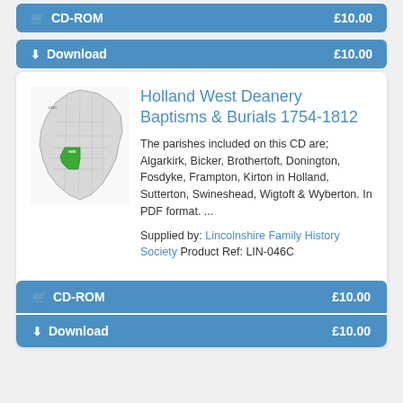CD-ROM  £10.00
Download  £10.00
Holland West Deanery Baptisms & Burials 1754-1812
[Figure (map): Map of Lincolnshire parishes with Holland West Deanery highlighted in green]
The parishes included on this CD are; Algarkirk, Bicker, Brothertoft, Donington, Fosdyke, Frampton, Kirton in Holland, Sutterton, Swineshead, Wigtoft & Wyberton. In PDF format. ...
Supplied by: Lincolnshire Family History Society Product Ref: LIN-046C
CD-ROM  £10.00
Download  £10.00